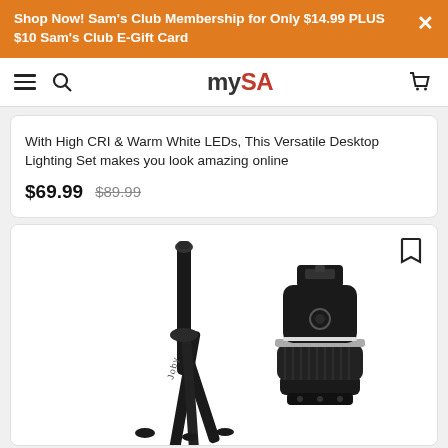Shop Now! Sam's Club Membership for Only $14.99 PLUS $10 Sam's Club E-Gift Card
[Figure (logo): mySA logo in the navigation bar with hamburger menu, search icon, and cart icon]
With High CRI & Warm White LEDs, This Versatile Desktop Lighting Set makes you look amazing online
$69.99  $89.99
[Figure (photo): Product photo showing a black Joby tripod with telescoping legs and a separate black camera head/ball head accessory on a white background]